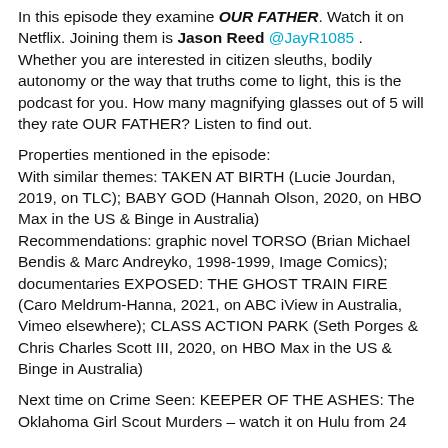In this episode they examine OUR FATHER. Watch it on Netflix. Joining them is Jason Reed @JayR1085. Whether you are interested in citizen sleuths, bodily autonomy or the way that truths come to light, this is the podcast for you. How many magnifying glasses out of 5 will they rate OUR FATHER? Listen to find out.
Properties mentioned in the episode:
With similar themes: TAKEN AT BIRTH (Lucie Jourdan, 2019, on TLC); BABY GOD (Hannah Olson, 2020, on HBO Max in the US & Binge in Australia)
Recommendations: graphic novel TORSO (Brian Michael Bendis & Marc Andreyko, 1998-1999, Image Comics); documentaries EXPOSED: THE GHOST TRAIN FIRE (Caro Meldrum-Hanna, 2021, on ABC iView in Australia, Vimeo elsewhere); CLASS ACTION PARK (Seth Porges & Chris Charles Scott III, 2020, on HBO Max in the US & Binge in Australia)
Next time on Crime Seen: KEEPER OF THE ASHES: The Oklahoma Girl Scout Murders – watch it on Hulu from 24